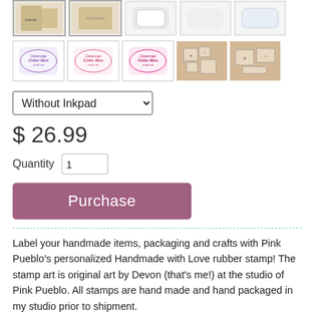[Figure (photo): Top row of 5 product thumbnails showing stamp and packaging images]
[Figure (photo): Second row of 5 product thumbnails: 3 Color Box inkpad thumbnails (purple, pink, hot pink) in white bordered frames, and 2 rubber stamp set thumbnails on kraft background]
Without Inkpad
$ 26.99
Quantity 1
Purchase
Label your handmade items, packaging and crafts with Pink Pueblo's personalized Handmade with Love rubber stamp! The stamp art is original art by Devon (that's me!) at the studio of Pink Pueblo. All stamps are hand made and hand packaged in my studio prior to shipment.